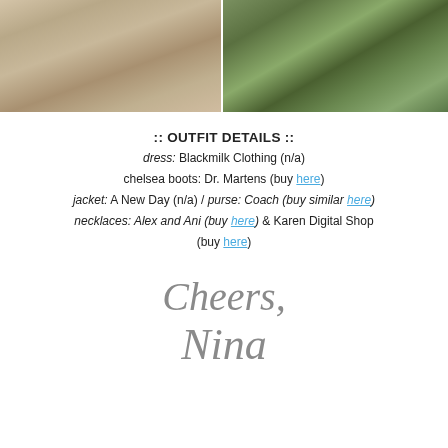[Figure (photo): Two side-by-side outdoor photos: left shows a person in a floral blue/white dress at a stone walkway; right shows tall redwood trees in a forest setting]
:: OUTFIT DETAILS ::
dress: Blackmilk Clothing (n/a)
chelsea boots: Dr. Martens (buy here)
jacket: A New Day (n/a) / purse: Coach (buy similar here)
necklaces: Alex and Ani (buy here) & Karen Digital Shop (buy here)
Cheers,
Nina